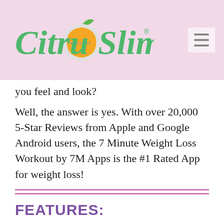[Figure (logo): CitruSlim logo with orange fruit and green leaf, text in green cursive font on pink background]
you feel and look?
Well, the answer is yes. With over 20,000 5-Star Reviews from Apple and Google Android users, the 7 Minute Weight Loss Workout by 7M Apps is the #1 Rated App for weight loss!
FEATURES:
The most effective and...